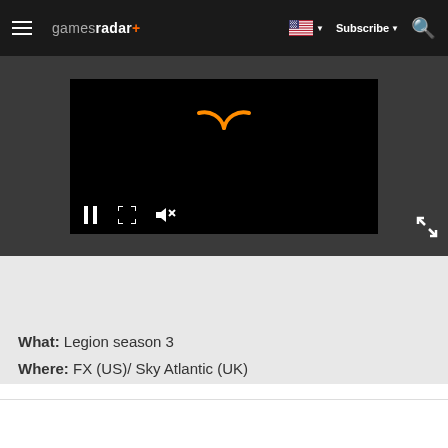gamesradar+ | Subscribe | Search
[Figure (screenshot): Video player with black background showing an orange loading spinner arc. Controls visible: pause button, expand/fullscreen button, mute button. Expand icon in bottom-right corner outside player.]
What: Legion season 3
Where: FX (US)/ Sky Atlantic (UK)